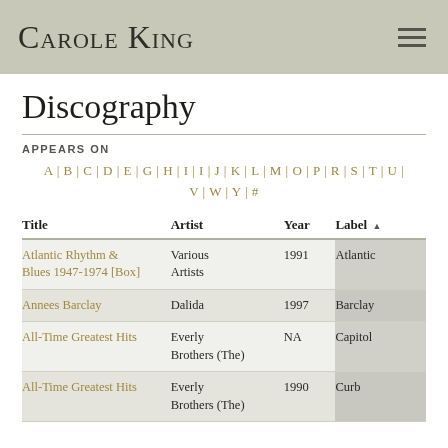CAROLE KING
Discography
APPEARS ON
A | B | C | D | E | G | H | I | I | J | K | L | M | O | P | R | S | T | U | V | W | Y | #
| Title | Artist | Year | Label |
| --- | --- | --- | --- |
| Atlantic Rhythm & Blues 1947-1974 [Box] | Various Artists | 1991 | Atlantic |
| Annees Barclay | Dalida | 1997 | Barclay |
| All-Time Greatest Hits | Everly Brothers (The) | NA | Capitol |
| All-Time Greatest Hits | Everly Brothers (The) | 1990 | Curb |